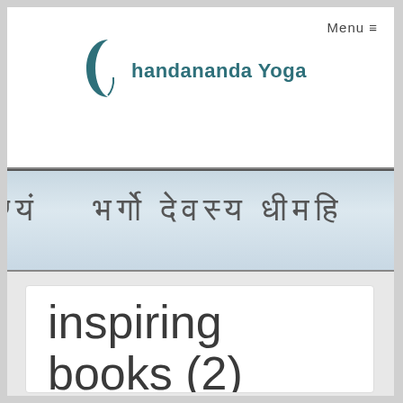[Figure (logo): Chandananda Yoga logo with crescent moon icon in teal and bold teal text reading 'chandananda Yoga']
Menu ≡
[Figure (photo): A banner image showing Devanagari Sanskrit text from the Gayatri mantra: 'ण्यं भर्गो देवस्य धीमहि धियो य' on a soft blue-white fabric or paper background]
inspiring books (2)